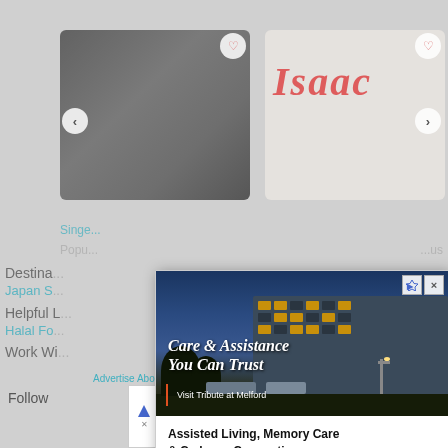[Figure (screenshot): Screenshot of a website with an advertisement overlay for Tribute at Melford senior living facility. The background shows a website with photo cards, navigation elements, and link text. An ad popup appears in the center showing a building at night with text 'Care & Assistance You Can Trust' and 'Visit Tribute at Melford'. Below the image is text 'Assisted Living, Memory Care & Cadence Connections' with a 'SCHEDULE A TOUR' button and the Tribute at Melford logo. A 'Close' button appears above the ad. At the bottom is a second smaller ad for Mattress Firm showing 'In-store shopping', 'In-store pickup', and 'Delivery' checkmarks.]
Care & Assistance You Can Trust
Visit Tribute at Melford
Assisted Living, Memory Care & Cadence Connections
SCHEDULE A TOUR
Close
Advertise About Us Join Us HHWT Explorers Writer Signup
Follow
In-store shopping
In-store pickup
Delivery